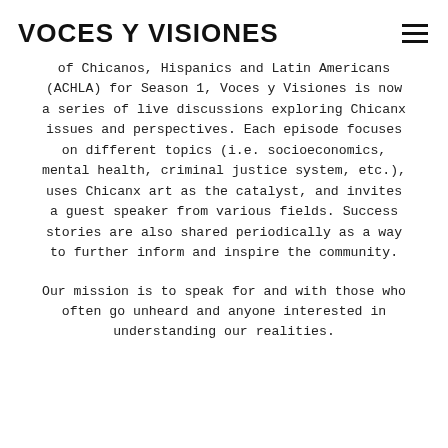VOCES Y VISIONES
of Chicanos, Hispanics and Latin Americans (ACHLA) for Season 1, Voces y Visiones is now a series of live discussions exploring Chicanx issues and perspectives. Each episode focuses on different topics (i.e. socioeconomics, mental health, criminal justice system, etc.), uses Chicanx art as the catalyst, and invites a guest speaker from various fields. Success stories are also shared periodically as a way to further inform and inspire the community.
Our mission is to speak for and with those who often go unheard and anyone interested in understanding our realities.